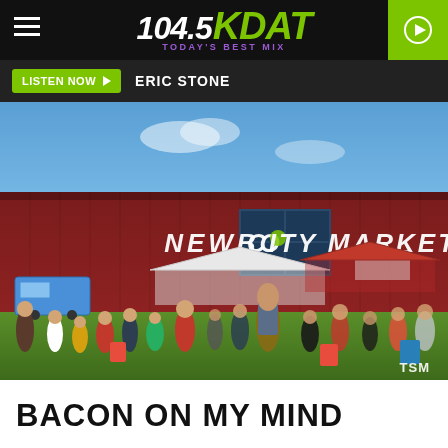104.5 KDAT - TODAY'S BEST MIX
LISTEN NOW  ERIC STONE
[Figure (photo): Outdoor crowd at Newbo City Market event, red building with 'NEWBO CITY MARKET' sign, tents and people gathered on grass, sunny day. TSM watermark in bottom right.]
BACON ON MY MIND